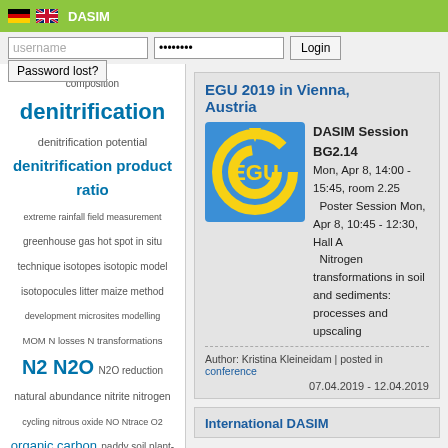DASIM
username | ******** | Login | Password lost?
composition
denitrification
denitrification potential
denitrification product ratio
extreme rainfall field measurement
greenhouse gas hot spot in situ
technique isotopes isotopic model
isotopocules litter maize method
development microsites modelling
MOM N losses N transformations
N2 N2O N2O reduction
natural abundance nitrite nitrogen
cycling nitrous oxide NO Ntrace O2
organic carbon paddy soil plant-specific N preferences Rayleigh type
model review Silphium perfoliatum L.
site preference soil drying stable
isotopes water-filled pore space
WEOC X-ray tomography
EGU 2019 in Vienna, Austria
DASIM Session BG2.14
Mon, Apr 8, 14:00 - 15:45, room 2.25
Poster Session Mon, Apr 8, 10:45 - 12:30, Hall A
Nitrogen transformations in soil and sediments: processes and upscaling
Author: Kristina Kleineidam | posted in conference
07.04.2019 - 12.04.2019
International DASIM